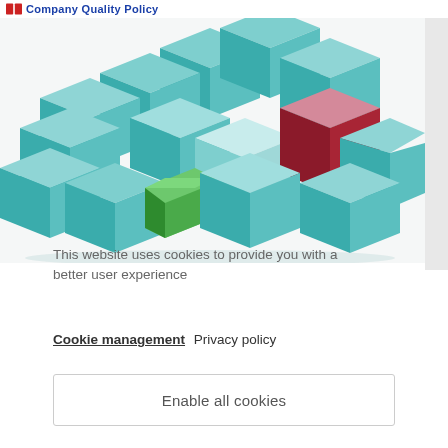Company Quality Policy
[Figure (illustration): 3D illustration of teal/white interlocking cubes with one red cube and one green cube standing out from the group, representing quality management concept]
This website uses cookies to provide you with a better user experience
Cookie management  Privacy policy
Enable all cookies